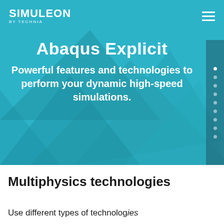SIMULEON BY TECHNIA
[Figure (illustration): Teal hero banner with geometric triangle shapes in darker teal tones forming an abstract background pattern]
Abaqus Explicit
Powerful features and technologies to perform your dynamic high-speed simulations.
Multiphysics technologies
Use different types of technologies